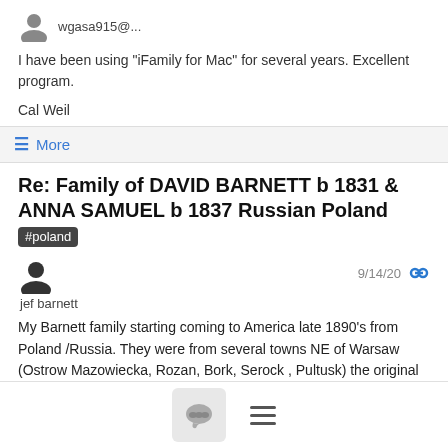wgasa915@...
I have been using "iFamily for Mac" for several years.  Excellent program.
Cal Weil
≡ More
Re: Family of DAVID BARNETT b 1831 & ANNA SAMUEL b 1837 Russian Poland #poland
jef barnett
9/14/20
My Barnett family starting coming to America late 1890's from Poland /Russia. They were from several towns NE of Warsaw (Ostrow Mazowiecka, Rozan, Bork, Serock ,  Pultusk) the original name was BANDRYMER